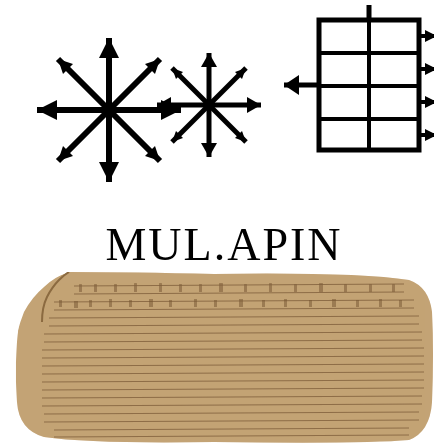[Figure (illustration): Large cuneiform script symbols rendered in black on white background. Left side shows a star/asterisk-like MUL symbol with multiple pointed rays and triangular decorations. Center shows another star/asterisk symbol. Right side shows the APIN plough cuneiform sign consisting of rectangular grid-like strokes with arrow/wedge shapes.]
MUL.APIN
[Figure (photo): Photograph of an ancient Babylonian clay tablet covered in dense cuneiform script. The tablet is brownish-tan in color with a rough, broken upper-left edge. The surface is densely covered with cuneiform wedge-shaped inscriptions arranged in horizontal lines across the entire face of the tablet.]